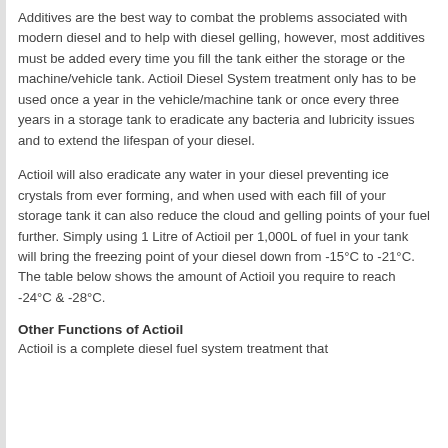Additives are the best way to combat the problems associated with modern diesel and to help with diesel gelling, however, most additives must be added every time you fill the tank either the storage or the machine/vehicle tank. Actioil Diesel System treatment only has to be used once a year in the vehicle/machine tank or once every three years in a storage tank to eradicate any bacteria and lubricity issues and to extend the lifespan of your diesel.
Actioil will also eradicate any water in your diesel preventing ice crystals from ever forming, and when used with each fill of your storage tank it can also reduce the cloud and gelling points of your fuel further. Simply using 1 Litre of Actioil per 1,000L of fuel in your tank will bring the freezing point of your diesel down from -15°C to -21°C. The table below shows the amount of Actioil you require to reach -24°C & -28°C.
Other Functions of Actioil
Actioil is a complete diesel fuel system treatment that